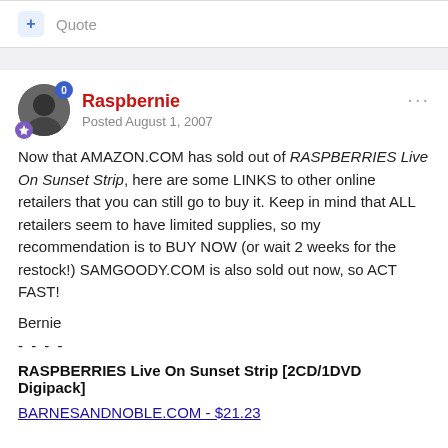+ Quote
Raspbernie
Posted August 1, 2007
Now that AMAZON.COM has sold out of RASPBERRIES Live On Sunset Strip, here are some LINKS to other online retailers that you can still go to buy it. Keep in mind that ALL retailers seem to have limited supplies, so my recommendation is to BUY NOW (or wait 2 weeks for the restock!) SAMGOODY.COM is also sold out now, so ACT FAST!
Bernie
- - - -
RASPBERRIES Live On Sunset Strip [2CD/1DVD Digipack]
BARNESANDNOBLE.COM - $21.23